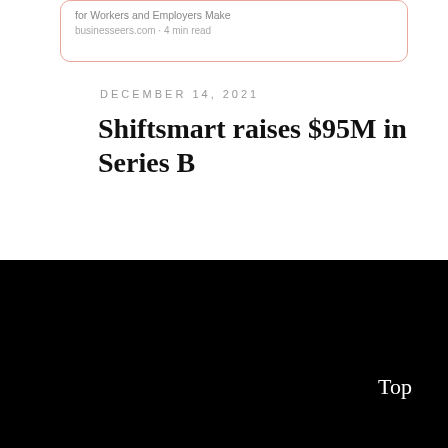[Figure (screenshot): Partial card/link preview with salmon/pink border showing truncated article title 'for Workers and Employers Make' and source 'businesseers.com · 4 min read']
DECEMBER 14, 2021
Shiftsmart raises $95M in Series B
Top